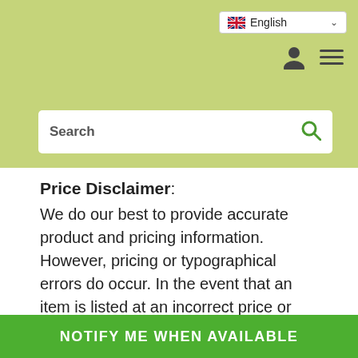English
Price Disclaimer:
We do our best to provide accurate product and pricing information. However, pricing or typographical errors do occur. In the event that an item is listed at an incorrect price or with incorrect information due to an error in pricing or product information, we shall have the right, at our sole discretion, to refuse or cancel any orders placed for that item. If an item is incorrectly priced, we will either contact you for instructions or cancel your order and notify you of such cancellation. Prices and availability are
NOTIFY ME WHEN AVAILABLE